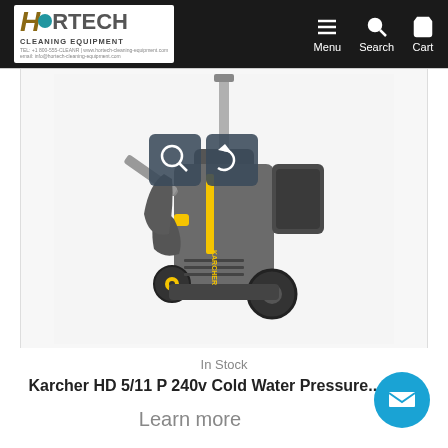HORTECH CLEANING EQUIPMENT — Menu | Search | Cart
[Figure (photo): Karcher HD 5/11 P cold water pressure washer unit in grey and yellow colors, shown folded/upright with handle and wheels visible. Two overlay icon buttons (zoom and rotate) appear on the image.]
In Stock
Karcher HD 5/11 P 240v Cold Water Pressure...
Learn more